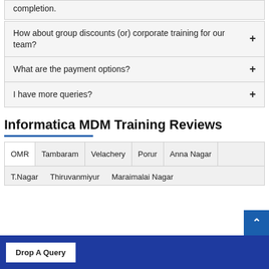completion.
How about group discounts (or) corporate training for our team? +
What are the payment options? +
I have more queries? +
Informatica MDM Training Reviews
OMR   Tambaram   Velachery   Porur   Anna Nagar
T.Nagar   Thiruvanmiyur   Maraimalai Nagar
Drop A Query